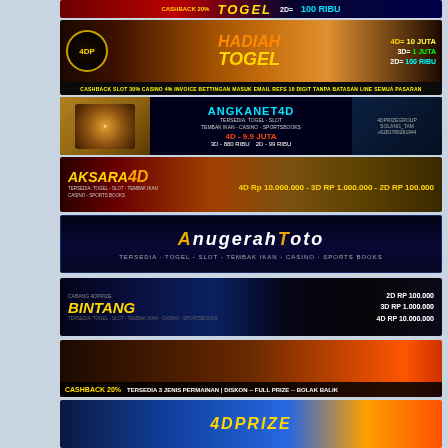[Figure (photo): Lottery/togel banner with cashback 20% and prize amounts, text: CASHBACK 20% TOGEL 2D=100 RIBU]
[Figure (photo): Lottery banner: HADIAH TOGEL 4D=10 JUTA 3D=1 JUTA 2D=100 RIBU, with 4DP logo]
[Figure (photo): Angkanet4D lottery banner: 4D=9.9 JUTA, 3D=880 RIBU, 2D=99 RIBU]
[Figure (photo): Aksara4D banner: 4D Rp 10.000.000 - 3D RP 1.000.000 - 2D RP 100.000]
[Figure (photo): AnugerahToto banner: TERSEDIA - TOGEL - SLOT - TEMBAK IKAN - CASINO - SPORTS BOOKS]
[Figure (photo): Bintang lottery banner: 2D RP 100.000, 3D RP 1.000.000, 4D RP 10.000.000]
[Figure (photo): CASHBACK 20% banner: TERSEDIA 3 JENIS PERMAINAN | DISKON -- FULL PRIZE -- BOLAK BALIK]
[Figure (photo): 4DPrize banner (partial, bottom of page)]